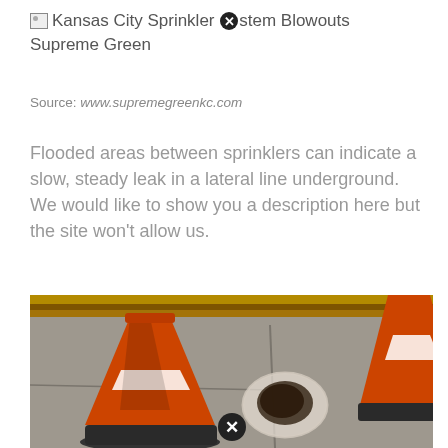Kansas City Sprinkler System Blowouts Supreme Green
Source: www.supremegreenkc.com
Flooded areas between sprinklers can indicate a slow, steady leak in a lateral line underground. We would like to show you a description here but the site won't allow us.
[Figure (photo): Photo showing two orange traffic cones on a concrete surface with a dark wet stain or leak mark on the ground between them, surrounded by a white residue ring. A yellow curb or barrier is visible in the background.]